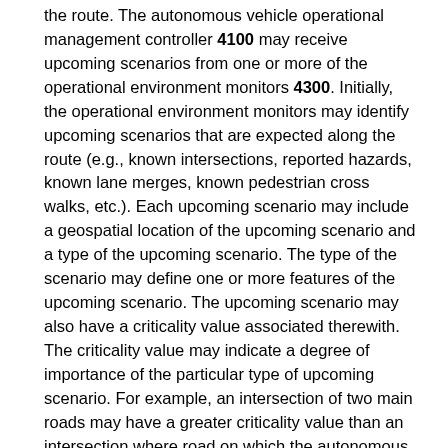the route. The autonomous vehicle operational management controller 4100 may receive upcoming scenarios from one or more of the operational environment monitors 4300. Initially, the operational environment monitors may identify upcoming scenarios that are expected along the route (e.g., known intersections, reported hazards, known lane merges, known pedestrian cross walks, etc.). Each upcoming scenario may include a geospatial location of the upcoming scenario and a type of the upcoming scenario. The type of the scenario may define one or more features of the upcoming scenario. The upcoming scenario may also have a criticality value associated therewith. The criticality value may indicate a degree of importance of the particular type of upcoming scenario. For example, an intersection of two main roads may have a greater criticality value than an intersection where road on which the autonomous vehicle is traveling has the right of way. In some implementations, the autonomous vehicle operational management controller 4100 determines a ranking score for each upcoming scenario. The autonomous vehicle operational management controller 4100 may determine a ranking score of an upcoming scenario based on the distance